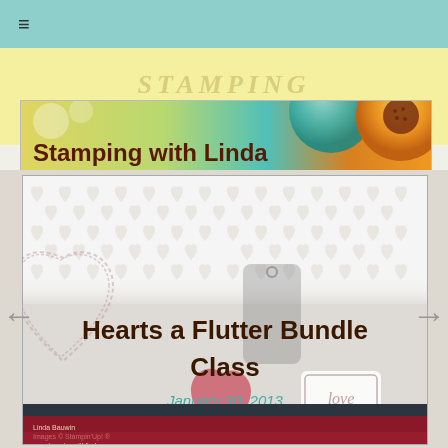[Figure (screenshot): Website screenshot of 'Stamping with Linda' blog showing a Hearts a Flutter Bundle Class slide dated January 30, 2013. Page has teal navigation bar at top, yellow background with watermark text, blog banner with sunflower decoration, and main content slide showing embossed hearts texture background with title text.]
Stamping with Linda
Hearts a Flutter Bundle Class
January 30, 2013
Linda Bauwin
Images © Stampin'Up! ®
ww.stampingwithlinda.com
CARD-iologist